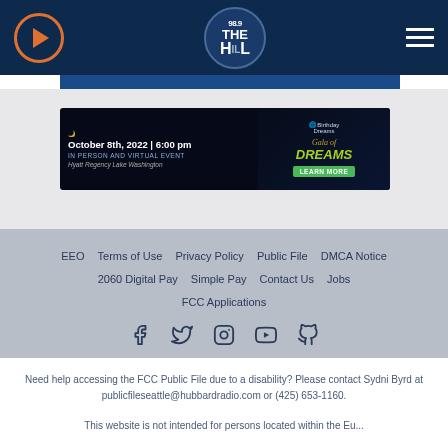98.9 The Hill - Radio station header with play button and logo
[Figure (screenshot): Advertisement banner for Gala of Dreams event: October 8th, 2022 | 6:00 pm, IN PERSON AND VIRTUAL EVENT, Hyatt Regency Lake Washington, with LEARN MORE button]
EEO | Terms of Use | Privacy Policy | Public File | DMCA Notice | 2060 Digital Pay | Simple Pay | Contact Us | Jobs | FCC Applications
[Figure (infographic): Social media icons: Facebook, Twitter, Instagram, YouTube, GitHub]
Need help accessing the FCC Public File due to a disability? Please contact Sydni Byrd at publicfileseattle@hubbardradio.com or (425) 653-1160.
This website is not intended for persons located within the Eu...